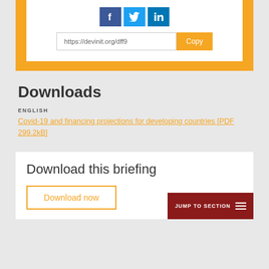[Figure (screenshot): Orange share widget with social media icons (Facebook, Twitter, LinkedIn) and a URL input field showing 'https://devinit.org/dff9' with an orange 'Copy' button]
Downloads
ENGLISH
Covid-19 and financing projections for developing countries [PDF 299.2kB]
[Figure (screenshot): White card with 'Download this briefing' heading, an orange-bordered 'Download now' button, and a dark red 'JUMP TO SECTION' button with hamburger icon in the bottom right]